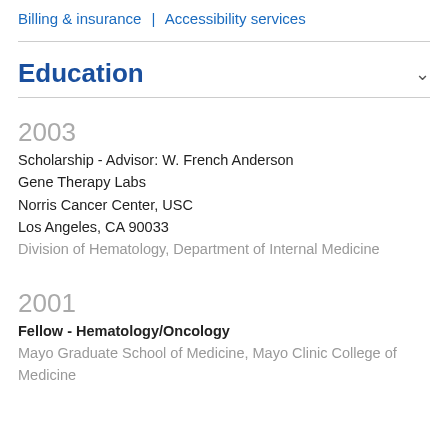Billing & insurance | Accessibility services
Education
2003
Scholarship - Advisor: W. French Anderson
Gene Therapy Labs
Norris Cancer Center, USC
Los Angeles, CA 90033
Division of Hematology, Department of Internal Medicine
2001
Fellow - Hematology/Oncology
Mayo Graduate School of Medicine, Mayo Clinic College of Medicine